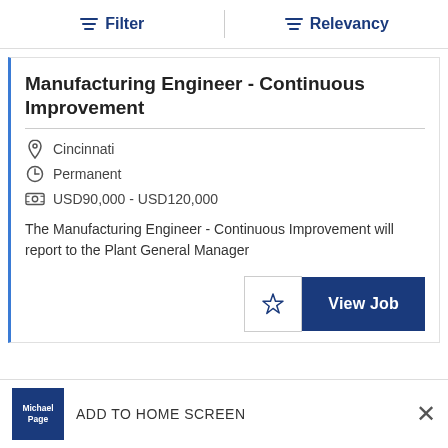Filter  |  Relevancy
Manufacturing Engineer - Continuous Improvement
Cincinnati
Permanent
USD90,000 - USD120,000
The Manufacturing Engineer - Continuous Improvement will report to the Plant General Manager
ADD TO HOME SCREEN